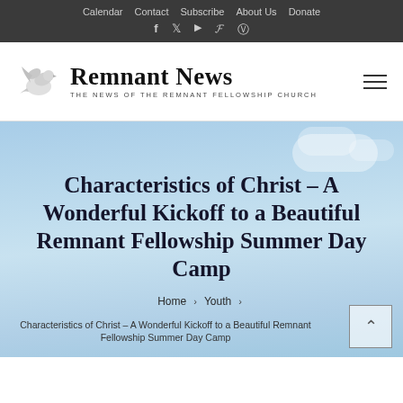Calendar  Contact  Subscribe  About Us  Donate
[Figure (logo): Remnant News logo with dove illustration and tagline 'The News of the Remnant Fellowship Church']
[Figure (photo): Light blue sky with soft clouds serving as hero banner background]
Characteristics of Christ – A Wonderful Kickoff to a Beautiful Remnant Fellowship Summer Day Camp
Home › Youth › Characteristics of Christ – A Wonderful Kickoff to a Beautiful Remnant Fellowship Summer Day Camp